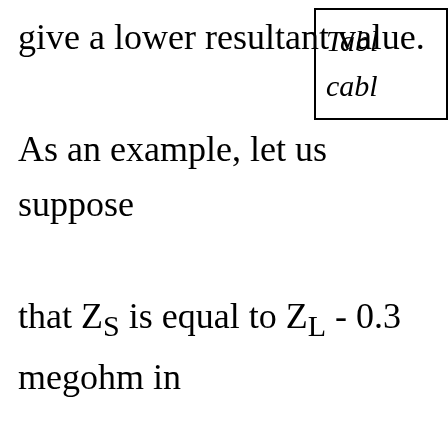give a lower resultant value.
Table cable
As an example, let us suppose that Z_S is equal to Z_L - 0.3 megohm in combination of Z_S and Z_L would then megohm. Fig. 3 shows that under the would be 0.375 times the generated vo effect of Z_S the voltage across the con 0.23 times E_G, as in Fig. 4. The differe